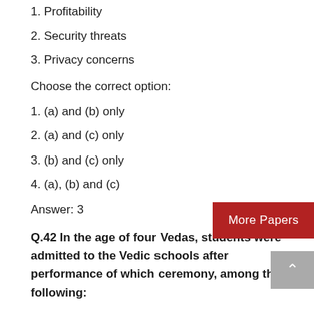1. Profitability
2. Security threats
3. Privacy concerns
Choose the correct option:
1. (a) and (b) only
2. (a) and (c) only
3. (b) and (c) only
4. (a), (b) and (c)
Answer: 3
Q.42 In the age of four Vedas, students were admitted to the Vedic schools after performance of which ceremony, among the following: